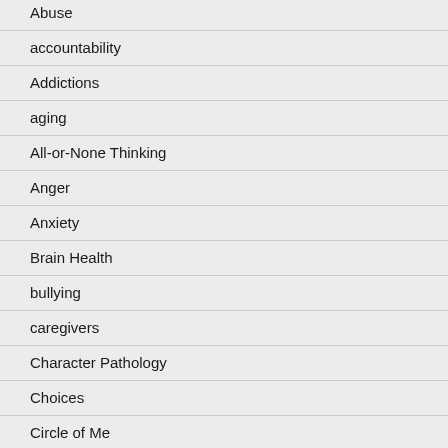Abuse
accountability
Addictions
aging
All-or-None Thinking
Anger
Anxiety
Brain Health
bullying
caregivers
Character Pathology
Choices
Circle of Me
Connections
Coping skills